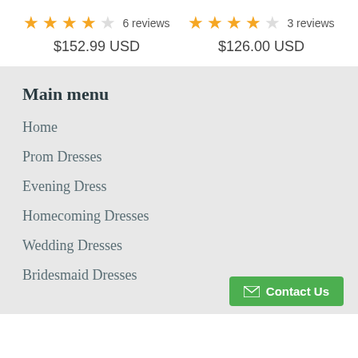★★★★☆ 6 reviews  $152.99 USD
★★★★☆ 3 reviews  $126.00 USD
Main menu
Home
Prom Dresses
Evening Dress
Homecoming Dresses
Wedding Dresses
Bridesmaid Dresses
✉ Contact Us